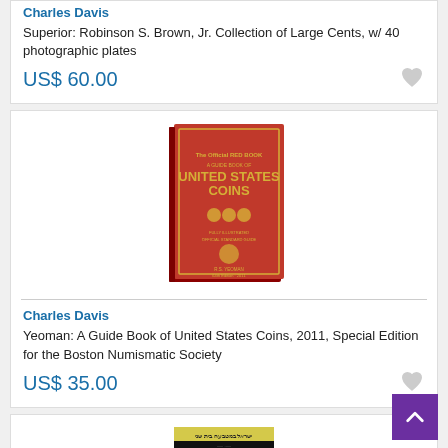Charles Davis
Superior: Robinson S. Brown, Jr. Collection of Large Cents, w/ 40 photographic plates
US$ 60.00
[Figure (photo): Red book cover: A Guide Book of United States Coins, 2011, 64th Edition]
Charles Davis
Yeoman: A Guide Book of United States Coins, 2011, Special Edition for the Boston Numismatic Society
US$ 35.00
[Figure (photo): Yellow book cover with two ancient coins, Hebrew text]